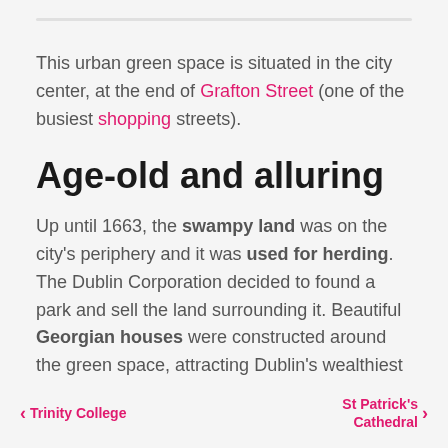This urban green space is situated in the city center, at the end of Grafton Street (one of the busiest shopping streets).
Age-old and alluring
Up until 1663, the swampy land was on the city's periphery and it was used for herding. The Dublin Corporation decided to found a park and sell the land surrounding it. Beautiful Georgian houses were constructed around the green space, attracting Dublin's wealthiest families.
< Trinity College    St Patrick's Cathedral >